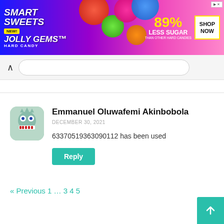[Figure (infographic): SmartSweets advertisement banner: Jolly Gems Hard Candy, 89% Less Sugar than other hard candies, Shop Now button]
Emmanuel Oluwafemi Akinbobola
DECEMBER 30, 2021
63370519363090112 has been used
Reply
« Previous 1 … 3 4 5